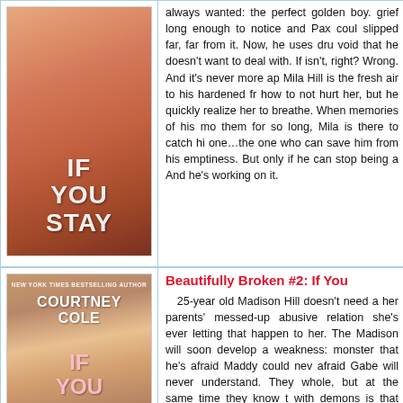[Figure (illustration): Book cover for 'If You Stay' showing two people in an embrace with warm tones, white text overlay reading IF YOU STAY]
always wanted: the perfect golden boy. grief long enough to notice and Pax coul slipped far, far from it. Now, he uses dru void that he doesn't want to deal with. If isn't, right? Wrong. And it's never more ap Mila Hill is the fresh air to his hardened fr how to not hurt her, but he quickly realize her to breathe. When memories of his mo them for so long, Mila is there to catch hi one…the one who can save him from his emptiness. But only if he can stop being a And he's working on it.
[Figure (illustration): Book cover for 'If You' (Beautifully Broken #2) showing a woman with blonde hair, with author name Courtney Cole, pink text overlay reading IF YOU]
Beautifully Broken #2: If You
25-year old Madison Hill doesn't need a her parents' messed-up abusive relation she's ever letting that happen to her. The Madison will soon develop a weakness: monster that he's afraid Maddy could nev afraid Gabe will never understand. They whole, but at the same time they know t with demons is that they never die quietly.